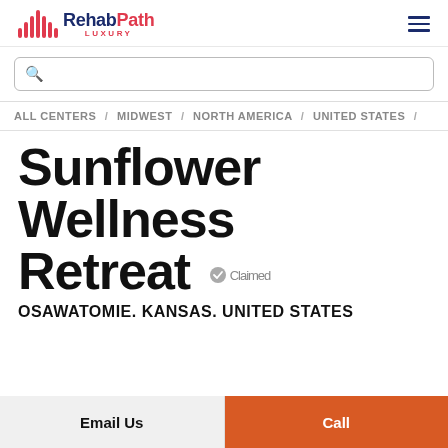[Figure (logo): RehabPath Luxury logo with stylized bar chart icon in red and navy text]
[Figure (other): Hamburger menu icon (three horizontal lines)]
Search box (empty)
ALL CENTERS / MIDWEST / NORTH AMERICA / UNITED STATES /
Sunflower Wellness Retreat
Claimed
OSAWATOMIE. KANSAS. UNITED STATES
Email Us
Call